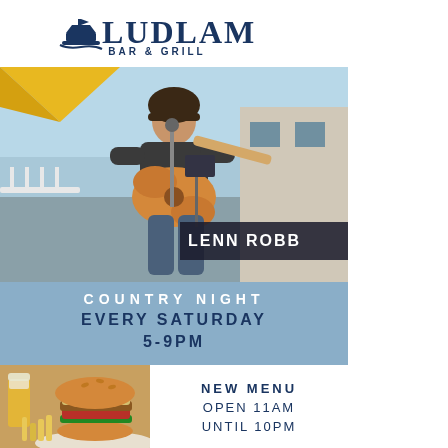[Figure (logo): Ludlam Bar & Grill logo with ship graphic, dark navy text]
[Figure (photo): Outdoor performer playing guitar on a deck/patio under yellow umbrella, with banner reading LENN ROBB in background]
COUNTRY NIGHT
EVERY SATURDAY
5-9PM
[Figure (photo): Food photo showing a gourmet burger with fries on a white plate and a glass of beer]
NEW MENU
OPEN 11AM
UNTIL 10PM